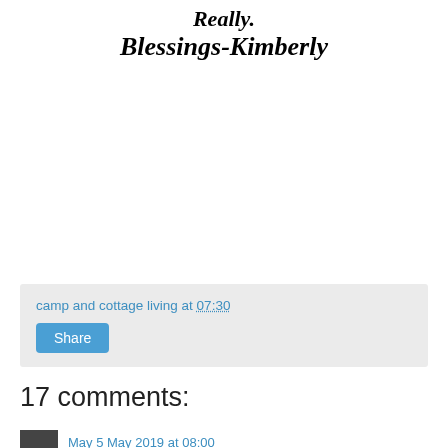Really.
Blessings-Kimberly
camp and cottage living at 07:30
Share
17 comments:
May 5 May 2019 at 08:00